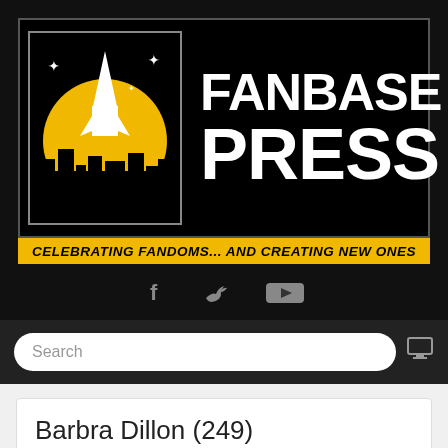[Figure (logo): Fanbase Press logo: black background with yellow circle and rocket/cityscape silhouette on left, bold white text 'FANBASE PRESS' on right, yellow italic tagline 'CELEBRATING FANDOMS... AND CREATING NEW ONES' below]
[Figure (infographic): Social media icons row: Facebook (f), Twitter bird, YouTube icon — dark gray on black background]
[Figure (screenshot): Navigation bar with rounded search box showing 'Search' placeholder text and monitor icon on right]
Barbra Dillon (249)
Favorite Book: Mockingjay
Favorite Food: In-N-Out Burger
Favorite Heroine: Katniss Everdeen
Go to top